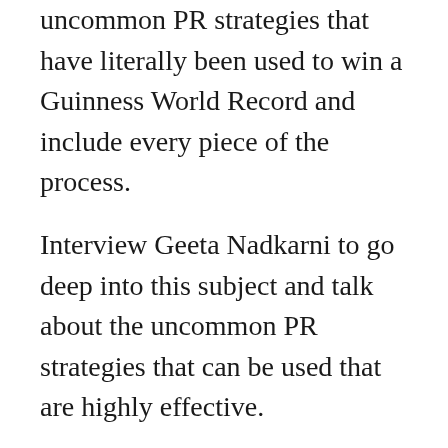uncommon PR strategies that have literally been used to win a Guinness World Record and include every piece of the process.
Interview Geeta Nadkarni to go deep into this subject and talk about the uncommon PR strategies that can be used that are highly effective.
Available for Interviews: Geeta Nadkarni
Geeta Nadkarni is an expert in the field of publicity, marketing, and helping small business owner to grow their businesses. She is also an award-winning journalist, national speaker, and is passionate about entrepreneurship and DIY business growth